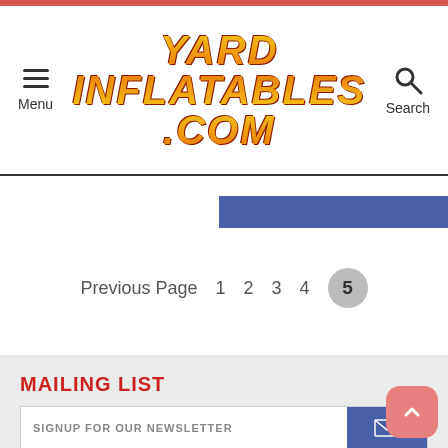[Figure (screenshot): Website header for YardInflatables.com showing hamburger menu icon with 'Menu' label on left, decorative flame-style logo in center, and search icon with 'Search' label on right]
BUY
Previous Page  1  2  3  4  5
MAILING LIST
SIGNUP FOR OUR NEWSLETTER
SUBSCRIBE   UNSUBSCRIBE